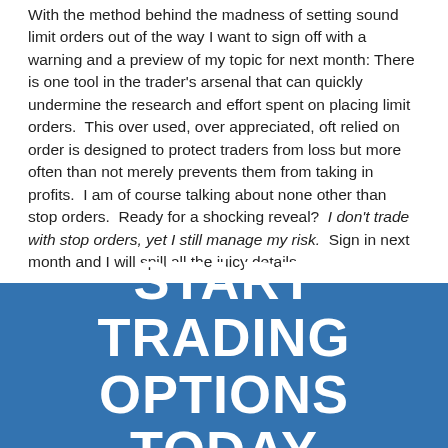With the method behind the madness of setting sound limit orders out of the way I want to sign off with a warning and a preview of my topic for next month: There is one tool in the trader's arsenal that can quickly undermine the research and effort spent on placing limit orders.  This over used, over appreciated, oft relied on order is designed to protect traders from loss but more often than not merely prevents them from taking in profits.  I am of course talking about none other than stop orders.  Ready for a shocking reveal?  I don't trade with stop orders, yet I still manage my risk.  Sign in next month and I will spill all the juicy details.
START TRADING OPTIONS TODAY